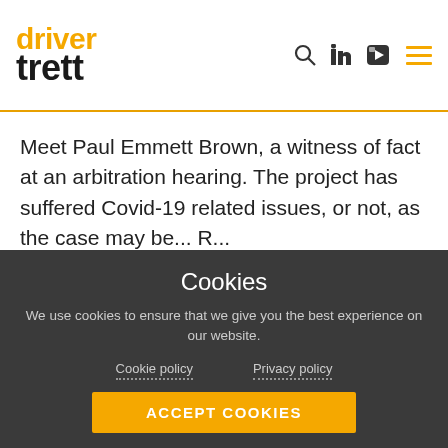driver trett
Meet Paul Emmett Brown, a witness of fact at an arbitration hearing. The project has suffered Covid-19 related issues, or not, as the case may be... R...
[Figure (photo): Wooden table surface with a white paper/document visible in corner]
Cookies
We use cookies to ensure that we give you the best experience on our website.
Cookie policy   Privacy policy
ACCEPT COOKIES